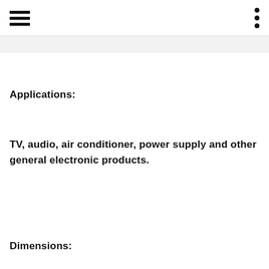Applications:
TV, audio, air conditioner, power supply and other general electronic products.
Dimensions: